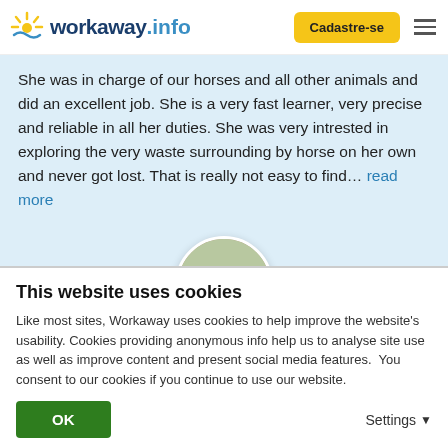workaway.info — Cadastre-se
She was in charge of our horses and all other animals and did an excellent job. She is a very fast learner, very precise and reliable in all her duties. She was very intrested in exploring the very waste surrounding by horse on her own and never got lost. That is really not easy to find... read more
[Figure (photo): Circular profile photo showing two people riding horses across an open field]
★★★★★ (Excelente )
This website uses cookies
Like most sites, Workaway uses cookies to help improve the website's usability. Cookies providing anonymous info help us to analyse site use as well as improve content and present social media features.  You consent to our cookies if you continue to use our website.
OK   Settings